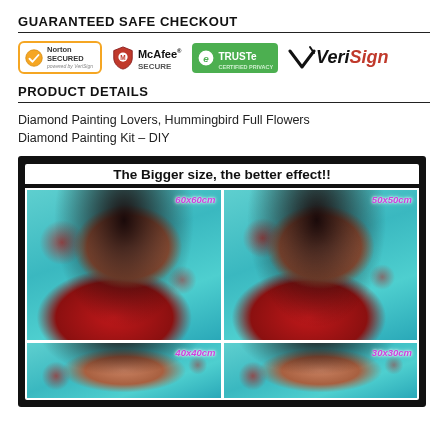GUARANTEED SAFE CHECKOUT
[Figure (logo): Security badges: Norton Secured, McAfee Secure, TRUSTe Certified Privacy, VeriSign]
PRODUCT DETAILS
Diamond Painting Lovers, Hummingbird Full Flowers Diamond Painting Kit – DIY
[Figure (photo): Product comparison image showing diamond painting kit at different sizes: 60x60cm, 50x50cm, 40x40cm, 30x30cm with title 'The Bigger size, the better effect!!']